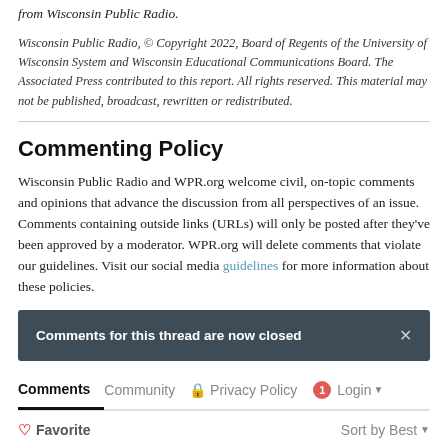from Wisconsin Public Radio.
Wisconsin Public Radio, © Copyright 2022, Board of Regents of the University of Wisconsin System and Wisconsin Educational Communications Board. The Associated Press contributed to this report. All rights reserved. This material may not be published, broadcast, rewritten or redistributed.
Commenting Policy
Wisconsin Public Radio and WPR.org welcome civil, on-topic comments and opinions that advance the discussion from all perspectives of an issue. Comments containing outside links (URLs) will only be posted after they've been approved by a moderator. WPR.org will delete comments that violate our guidelines. Visit our social media guidelines for more information about these policies.
Comments for this thread are now closed
Comments  Community  Privacy Policy  1  Login  Favorite  Sort by Best